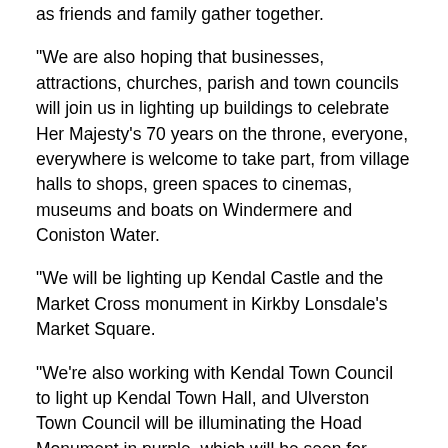as friends and family gather together.
“We are also hoping that businesses, attractions, churches, parish and town councils will join us in lighting up buildings to celebrate Her Majesty’s 70 years on the throne, everyone, everywhere is welcome to take part, from village halls to shops, green spaces to cinemas, museums and boats on Windermere and Coniston Water.
“We will be lighting up Kendal Castle and the Market Cross monument in Kirkby Lonsdale’s Market Square.
“We’re also working with Kendal Town Council to light up Kendal Town Hall, and Ulverston Town Council will be illuminating the Hoad Monument in purple, which will be seen for miles around.”
Councillor Ashcroft continued: “Many people across South